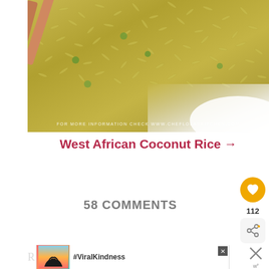[Figure (photo): Close-up photo of West African Coconut Rice in a white bowl/plate, with chopsticks visible at top left. Rice appears yellowish-green. Watermark at bottom reads 'FOR MORE INFORMATION CHECK WWW.CHEFLOLASKITCHEN.COM']
West African Coconut Rice →
58 COMMENTS
[Figure (screenshot): Advertisement banner with #ViralKindness text and heart hands silhouette image, with close button (X)]